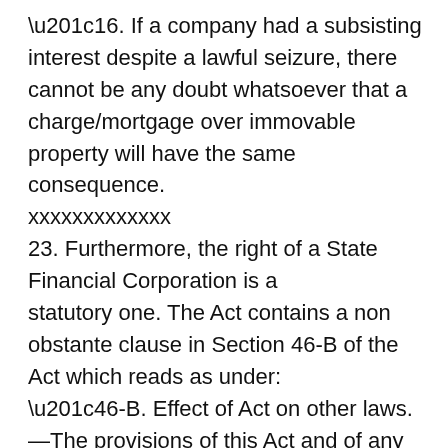“16. If a company had a subsisting interest despite a lawful seizure, there cannot be any doubt whatsoever that a charge/mortgage over immovable property will have the same consequence.
xxxxxxxxxxxxx
23. Furthermore, the right of a State Financial Corporation is a statutory one. The Act contains a non obstante clause in Section 46-B of the Act which reads as under:
“46-B. Effect of Act on other laws.—The provisions of this Act and of any rule or orders made thereunder shall have effect notwithstanding anything inconsistent therewith contained in any other law for the time being in force or in the memorandum or articles of association of an industrial concern or in any other instrument having effect